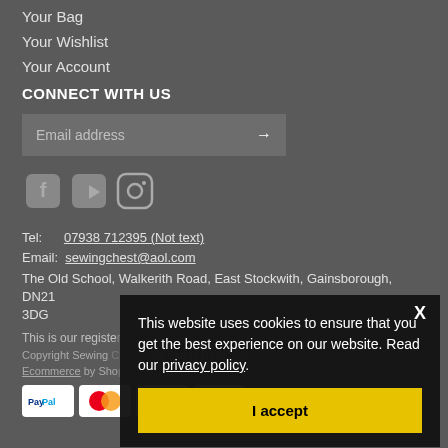Your Bag
Your Wishlist
Your Account
CONNECT WITH US
[Figure (screenshot): Email address input box with arrow button]
[Figure (infographic): Social media icons: Facebook, YouTube, Instagram]
Tel:    07938 712395 (Not text)
Email:  sewingchest@aol.com
The Old School, Walkerith Road, East Stockwith, Gainsborough, DN21 3DG
This is our registered...
Copyright Sewing... All Rights Reserved.
Ecommerce by ShopWired
[Figure (infographic): Payment method logos: PayPal, Mastercard, Visa, and another card]
This website uses cookies to ensure that you get the best experience on our website. Read our privacy policy.
I accept